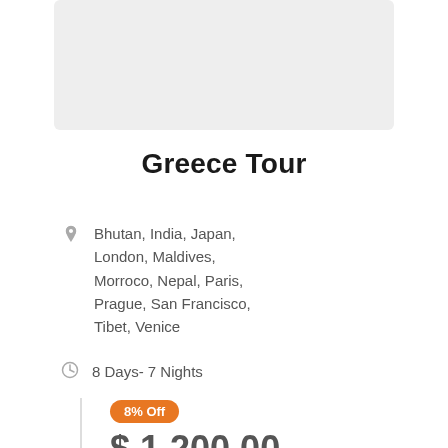[Figure (photo): Light gray placeholder image box at the top of the card]
Greece Tour
Bhutan, India, Japan, London, Maldives, Morroco, Nepal, Paris, Prague, San Francisco, Tibet, Venice
8 Days- 7 Nights
8% Off
$ 1,200.00
$ 1,300.00